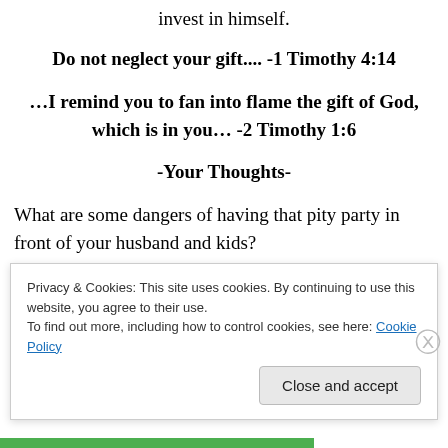invest in himself.
Do not neglect your gift.... -1 Timothy 4:14
…I remind you to fan into flame the gift of God, which is in you… -2 Timothy 1:6
-Your Thoughts-
What are some dangers of having that pity party in front of your husband and kids?
I would never want my kids or husband to feel like they
Privacy & Cookies: This site uses cookies. By continuing to use this website, you agree to their use.
To find out more, including how to control cookies, see here: Cookie Policy